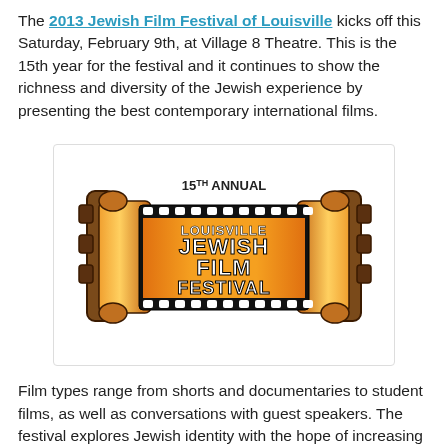The 2013 Jewish Film Festival of Louisville kicks off this Saturday, February 9th, at Village 8 Theatre. This is the 15th year for the festival and it continues to show the richness and diversity of the Jewish experience by presenting the best contemporary international films.
[Figure (logo): 15th Annual Louisville Jewish Film Festival logo — Torah scroll unrolled as a film strip with orange gradient panels and bold white text reading LOUISVILLE JEWISH FILM FESTIVAL]
Film types range from shorts and documentaries to student films, as well as conversations with guest speakers. The festival explores Jewish identity with the hope of increasing tolerance and educating it's audiences. Some films shown in the past have won or were nominated for Academy...